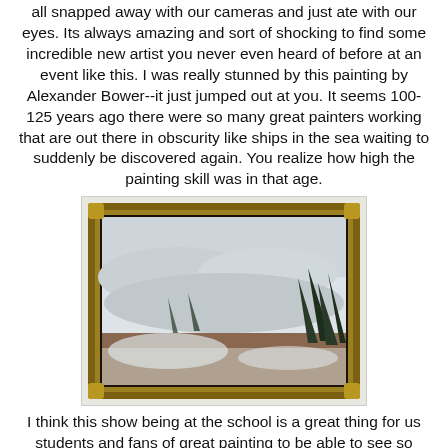all snapped away with our cameras and just ate with our eyes. Its always amazing and sort of shocking to find some incredible new artist you never even heard of before at an event like this. I was really stunned by this painting by Alexander Bower--it just jumped out at you. It seems 100-125 years ago there were so many great painters working that are out there in obscurity like ships in the sea waiting to suddenly be discovered again. You realize how high the painting skill was in that age.
[Figure (photo): A framed painting in a gold ornate frame showing a winter landscape with snow-covered hills, evergreen trees on the right, and a cloudy sky. The painting appears to be approximately 100-125 years old, by Alexander Bower.]
I think this show being at the school is a great thing for us students and fans of great painting to be able to see so much great work in one space. I also spent time talking to